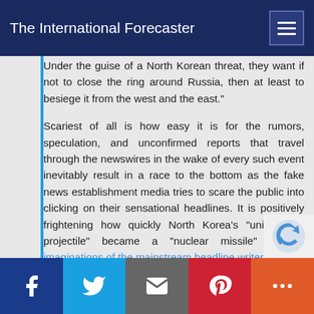The International Forecaster
Under the guise of a North Korean threat, they want if not to close the ring around Russia, then at least to besiege it from the west and the east."
Scariest of all is how easy it is for the rumors, speculation, and unconfirmed reports that travel through the newswires in the wake of every such event inevitably result in a race to the bottom as the fake news establishment media tries to scare the public into clicking on their sensational headlines. It is positively frightening how quickly North Korea's "unidentified projectile" became a "nuclear missile" in the imaginations of the mainstream headline writers.
The North Korean nuclear dance has sometimes been perceived as a type of harmless parochial hoedown. After all, it's just those crazy North Koreans with their wacky dictator threatening the world's greatest superpower with their firecrackers ar